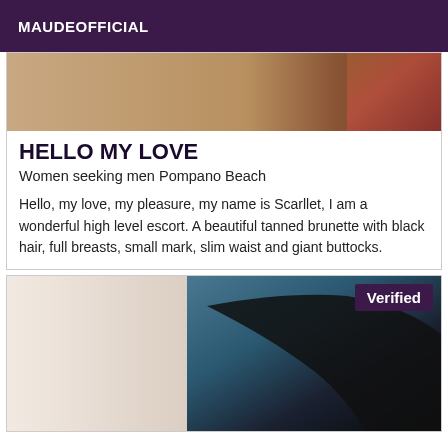MAUDEOFFICIAL
[Figure (photo): Cropped photo showing a person's back/skin, warm tones, partial fabric visible on right side]
HELLO MY LOVE
Women seeking men Pompano Beach
Hello, my love, my pleasure, my name is Scarllet, I am a wonderful high level escort. A beautiful tanned brunette with black hair, full breasts, small mark, slim waist and giant buttocks.
[Figure (photo): Cropped close-up photo showing a person's torso/arm area with dark clothing item, light background. 'Verified' badge in top-right corner.]